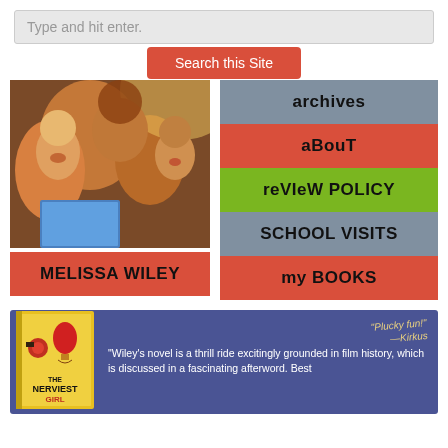Type and hit enter.
Search this Site
[Figure (photo): Photo of Melissa Wiley with two children reading a book, laughing together]
MELISSA WILEY
archives
about
review policy
SCHOOL VISITS
my BOOKS
[Figure (photo): Book cover for 'The Nerviest Girl' by Melissa Wiley with yellow background and hot air balloon]
"Plucky fun!" —Kirkus
"Wiley's novel is a thrill ride excitingly grounded in film history, which is discussed in a fascinating afterword. Best